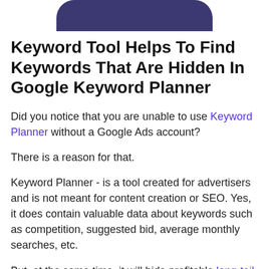[Figure (illustration): Partial view of a dark blue/purple illustrated graphic at the top of the page, appears to be a character or object, cropped.]
Keyword Tool Helps To Find Keywords That Are Hidden In Google Keyword Planner
Did you notice that you are unable to use Keyword Planner without a Google Ads account?
There is a reason for that.
Keyword Planner - is a tool created for advertisers and is not meant for content creation or SEO. Yes, it does contain valuable data about keywords such as competition, suggested bid, average monthly searches, etc.
But, at the same time, it will hide profitable long-tail keywords with thousands of monthly searches that can be used to create content for your website. Some digital